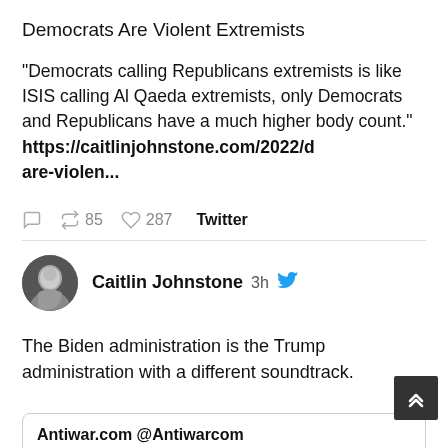Democrats Are Violent Extremists
"Democrats calling Republicans extremists is like ISIS calling Al Qaeda extremists, only Democrats and Republicans have a much higher body count." https://caitlinjohnstone.com/2022/ are-violen...
85 retweets  287 likes  Twitter
Caitlin Johnstone 3h
The Biden administration is the Trump administration with a different soundtrack.
Antiwar.com @Antiwarcom
Nuclear Deal Seems Unlikely